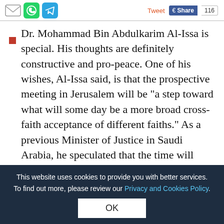[Social share icons: email, WhatsApp, Telegram] Tweet | Share 116
Dr. Mohammad Bin Abdulkarim Al-Issa is special. His thoughts are definitely constructive and pro-peace. One of his wishes, Al-Issa said, is that the prospective meeting in Jerusalem will be "a step toward what will some day be a more broad cross-faith acceptance of different faiths." As a previous Minister of Justice in Saudi Arabia, he speculated that the time will come when people of different religions can go to any country, including Saudi Arabia, and publicly practice their faith.
that extremists attempt to hijack the true religion, specifically through poisoning the minds of some young people with the idea of
This website uses cookies to provide you with better services. To find out more, please review our Privacy and Cookies Policy.